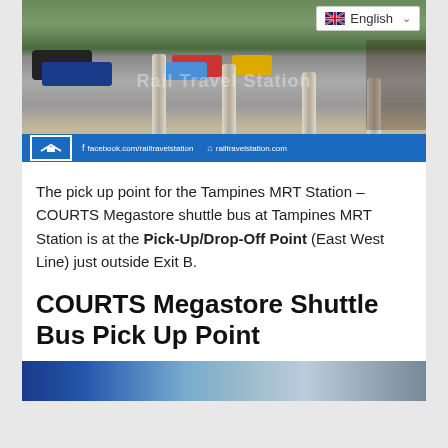[Figure (photo): Street view photo of Tampines MRT Station area showing a covered walkway with pillars, parked cars, bicycles on the right side. Blue bar at bottom shows Rail Travel Station logo, facebook.com/railtravelstation and railtravelstation.com. English language selector with UK flag in top right corner.]
The pick up point for the Tampines MRT Station – COURTS Megastore shuttle bus at Tampines MRT Station is at the Pick-Up/Drop-Off Point (East West Line) just outside Exit B.
COURTS Megastore Shuttle Bus Pick Up Point
[Figure (photo): Partial bottom photo strip showing blue/teal tones of what appears to be another street or station photo.]